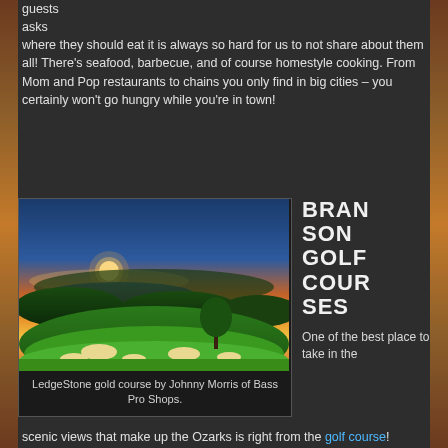When guests asks where they should eat it is always so hard for us to not share about them all! There's seafood, barbecue, and of course homestyle cooking. From Mom and Pop restaurants to chains you only find in big cities – you certainly won't go hungry while you're in town!
[Figure (photo): Scenic golf course at sunset showing green fairways with sand traps and a lake in the background, orange and blue sky with sun setting on the horizon — LedgeStone gold course by Johnny Morris of Bass Pro Shops.]
LedgeStone gold course by Johnny Morris of Bass Pro Shops.
BRANSON GOLF COURSES
One of the best place to take in the scenic views that make up the Ozarks is right from the golf course!